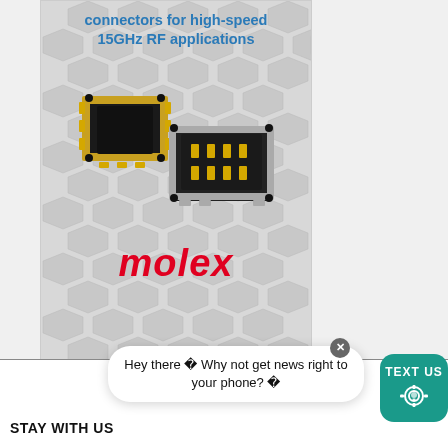connectors for high-speed 15GHz RF applications
[Figure (photo): Two small SMD RF connectors from Molex — one gold-colored (left) and one silver/black (right), shown at an angle on a white hexagonal pattern background.]
[Figure (logo): Molex logo in red italic bold text]
Hey there 💡 Why not get news right to your phone? 💡
STAY WITH US